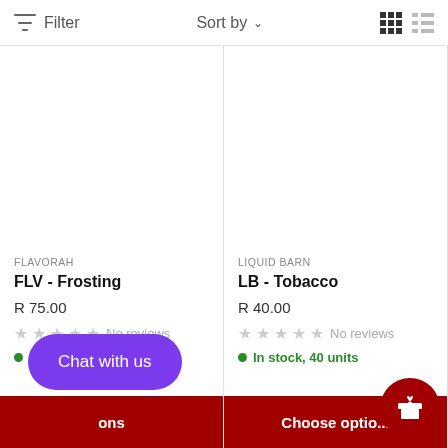Filter  Sort by  [grid view] [list view]
FLAVORAH
FLV - Frosting
R 75.00
No reviews
In stock, 40 units
LIQUID BARN
LB - Tobacco
R 40.00
No reviews
In stock, 40 units
Chat with us
Choose optio...
ons